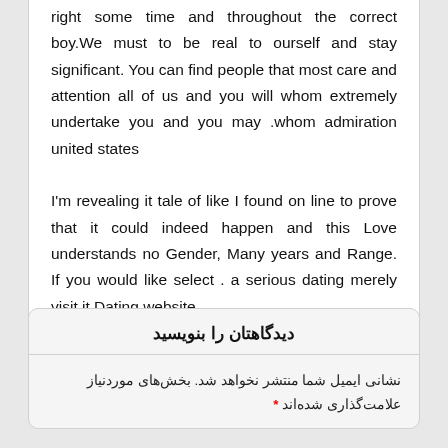right some time and throughout the correct boy.We must to be real to ourself and stay significant. You can find people that most care and attention all of us and you will whom extremely undertake you and you may .whom admiration united states

I'm revealing it tale of like I found on line to prove that it could indeed happen and this Love understands no Gender, Many years and Range. If you would like select . a serious dating merely visit it Dating website
دیدگاهتان را بنویسید
نشانی ایمیل شما منتشر نخواهد شد. بخش‌های موردنیاز علامت‌گذاری شده‌اند *